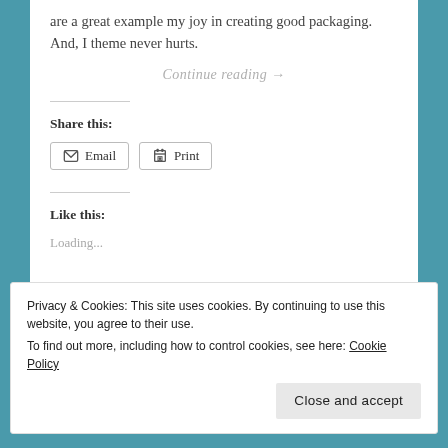are a great example my joy in creating good packaging. And, I theme never hurts.
Continue reading →
Share this:
Email
Print
Like this:
Loading...
Privacy & Cookies: This site uses cookies. By continuing to use this website, you agree to their use. To find out more, including how to control cookies, see here: Cookie Policy
Close and accept